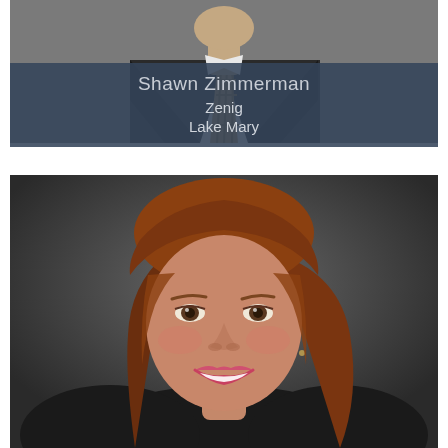[Figure (photo): Partial photo of a man in a dark suit with a plaid tie, cropped to show only the lower face/neck and shoulders area]
Shawn Zimmerman
Zenig
Lake Mary
[Figure (photo): Professional headshot of a woman with short brown hair, smiling, wearing a dark jacket, photographed against a dark gray background]